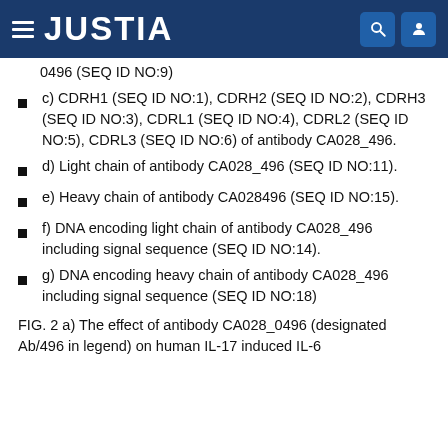JUSTIA
0496 (SEQ ID NO:9)
c) CDRH1 (SEQ ID NO:1), CDRH2 (SEQ ID NO:2), CDRH3 (SEQ ID NO:3), CDRL1 (SEQ ID NO:4), CDRL2 (SEQ ID NO:5), CDRL3 (SEQ ID NO:6) of antibody CA028_496.
d) Light chain of antibody CA028_496 (SEQ ID NO:11).
e) Heavy chain of antibody CA028496 (SEQ ID NO:15).
f) DNA encoding light chain of antibody CA028_496 including signal sequence (SEQ ID NO:14).
g) DNA encoding heavy chain of antibody CA028_496 including signal sequence (SEQ ID NO:18)
FIG. 2 a) The effect of antibody CA028_0496 (designated Ab/496 in legend) on human IL-17 induced IL-6